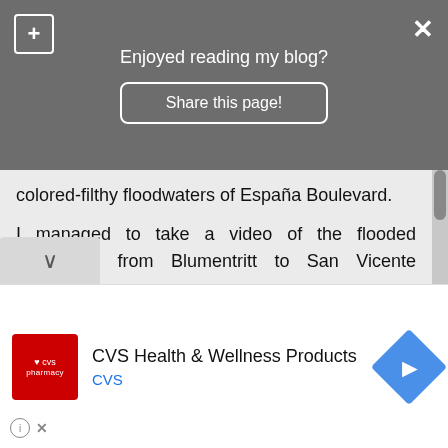Enjoyed reading my blog?
Share this page!
colored-filthy floodwaters of España Boulevard.
I managed to take a video of the flooded boulevard, from Blumentritt to San Vicente Streets.
[Figure (screenshot): Embedded YouTube video thumbnail titled 'Waterworld Españ...' showing a flooded boulevard at night with a play button overlay]
CVS Health & Wellness Products
CVS